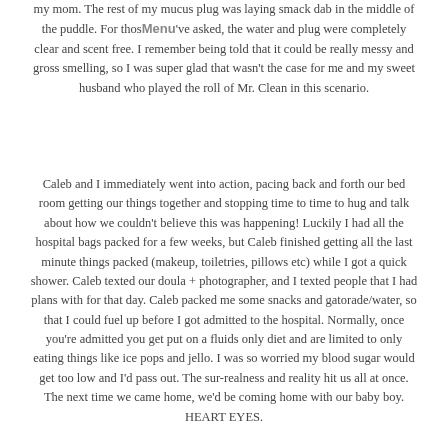my mom. The rest of my mucus plug was laying smack dab in the middle of the puddle. For those who've asked, the water and plug were completely clear and scent free. I remember being told that it could be really messy and gross smelling, so I was super glad that wasn't the case for me and my sweet husband who played the roll of Mr. Clean in this scenario.
Caleb and I immediately went into action, pacing back and forth our bed room getting our things together and stopping time to time to hug and talk about how we couldn't believe this was happening! Luckily I had all the hospital bags packed for a few weeks, but Caleb finished getting all the last minute things packed (makeup, toiletries, pillows etc) while I got a quick shower. Caleb texted our doula + photographer, and I texted people that I had plans with for that day. Caleb packed me some snacks and gatorade/water, so that I could fuel up before I got admitted to the hospital. Normally, once you're admitted you get put on a fluids only diet and are limited to only eating things like ice pops and jello. I was so worried my blood sugar would get too low and I'd pass out. The sur-realness and reality hit us all at once. The next time we came home, we'd be coming home with our baby boy. HEART EYES.